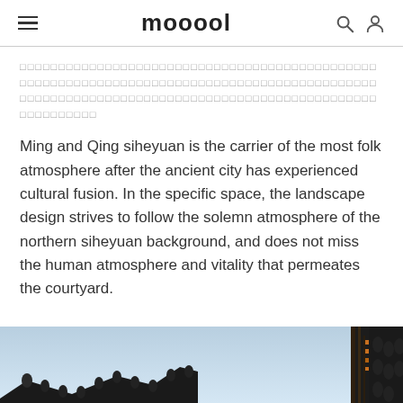mooool
□□□□□□□□□□□□□□□□□□□□□□□□□□□□□□□□□□□□□□□□□□□□□□□□□□□□□□□□□□□□□□□□□□□□□□□□□□□□□□□□□□□□□□□□□□□□□□□□□□□□□□□□□□□□□□□□□□□□□□□□□□□□□□□□□□□□□□□□□□□□□□□□□□□□
Ming and Qing siheyuan is the carrier of the most folk atmosphere after the ancient city has experienced cultural fusion. In the specific space, the landscape design strives to follow the solemn atmosphere of the northern siheyuan background, and does not miss the human atmosphere and vitality that permeates the courtyard.
[Figure (photo): Low-angle photograph looking up at traditional Chinese architecture with dark tiled rooflines against a pale blue sky, with dark structural elements on the right side.]